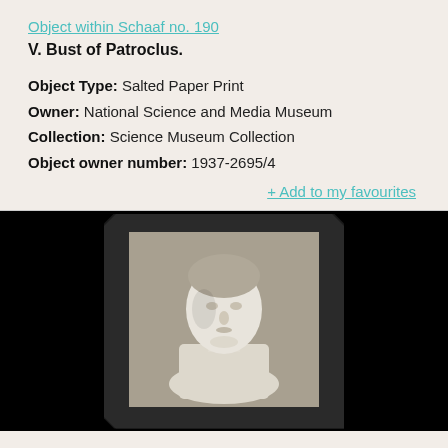Object within Schaaf no. 190
V. Bust of Patroclus.
Object Type: Salted Paper Print
Owner: National Science and Media Museum
Collection: Science Museum Collection
Object owner number: 1937-2695/4
+ Add to my favourites
[Figure (photo): A salted paper print photograph showing a bust sculpture of Patroclus, displayed against a dark mount/backing, mounted on a card. The bust shows a male classical figure from approximately the shoulders up.]